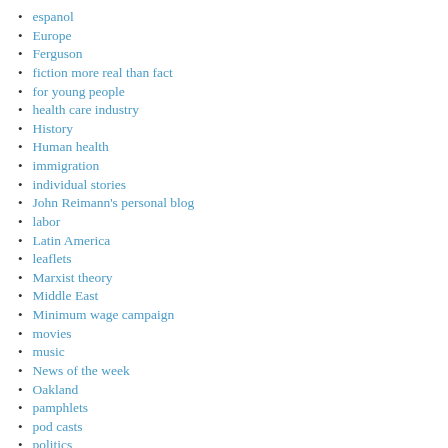espanol
Europe
Ferguson
fiction more real than fact
for young people
health care industry
History
Human health
immigration
individual stories
John Reimann's personal blog
labor
Latin America
leaflets
Marxist theory
Middle East
Minimum wage campaign
movies
music
News of the week
Oakland
pamphlets
pod casts
politics
poverty & hunger
racism
rebellio…